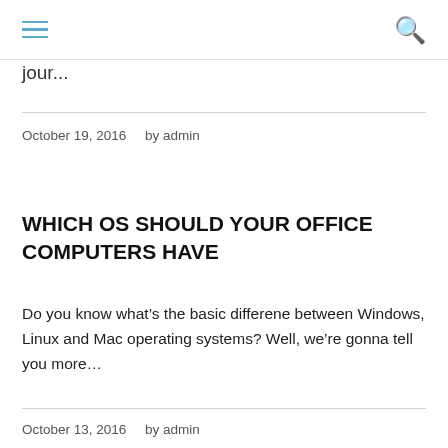[hamburger menu] [search icon]
jour...
October 19, 2016     by admin
WHICH OS SHOULD YOUR OFFICE COMPUTERS HAVE
Do you know what’s the basic differene between Windows, Linux and Mac operating systems? Well, we’re gonna tell you more…
October 13, 2016     by admin